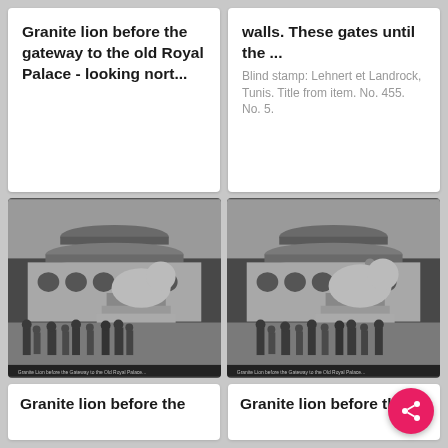Granite lion before the gateway to the old Royal Palace - looking nort...
walls. These gates until the ...
Blind stamp: Lehnert et Landrock, Tunis. Title from item. No. 455. No. 5.
[Figure (photo): Black and white stereo photograph of a granite lion statue before a gateway, with people gathered around the base (left panel)]
[Figure (photo): Black and white stereo photograph of a granite lion statue before a gateway, with people gathered around the base (right panel)]
Granite lion before the
Granite lion before the